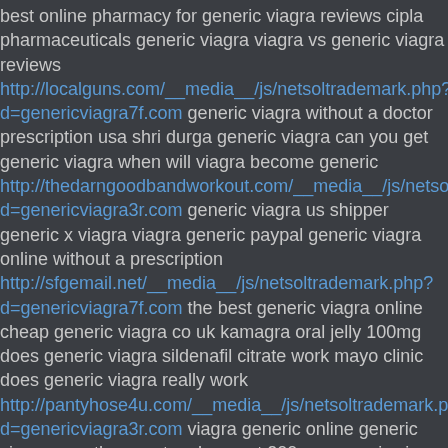best online pharmacy for generic viagra reviews cipla pharmaceuticals generic viagra viagra vs generic viagra reviews http://localguns.com/__media__/js/netsoltrademark.php?d=genericviagra7f.com generic viagra without a doctor prescription usa shri durga generic viagra can you get generic viagra when will viagra become generic http://thedarngoodbandworkout.com/__media__/js/netsoltrademark.php?d=genericviagra3r.com generic viagra us shipper generic x viagra viagra generic paypal generic viagra online without a prescription http://sfgemail.net/__media__/js/netsoltrademark.php?d=genericviagra7f.com the best generic viagra online cheap generic viagra co uk kamagra oral jelly 100mg does generic viagra sildenafil citrate work mayo clinic does generic viagra really work http://pantyhose4u.com/__media__/js/netsoltrademark.php?d=genericviagra3r.com viagra generic online generic viagra over the counter cheapest 200 mg generic viagra next day generic viagra http://prolink.pro/__media__/js/netsoltrademark.php?d=genericviagra7f.com is there really a generic viagra generic viagra websites safe reviews what is the best place to buy generic viagra online cheap generic viagra from india